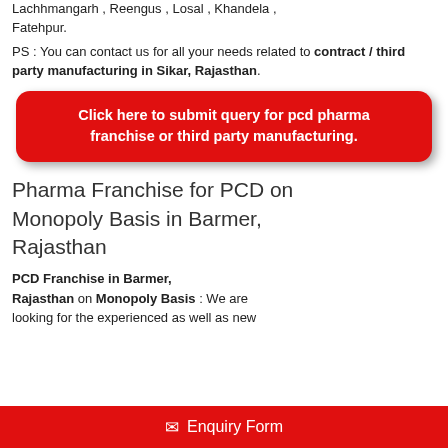Lachhmangarh , Reengus , Losal , Khandela , Fatehpur.
PS : You can contact us for all your needs related to contract / third party manufacturing in Sikar, Rajasthan.
Click here to submit query for pcd pharma franchise or third party manufacturing.
Pharma Franchise for PCD on Monopoly Basis in Barmer, Rajasthan
PCD Franchise in Barmer, Rajasthan on Monopoly Basis : We are looking for the experienced as well as new
Enquiry Form